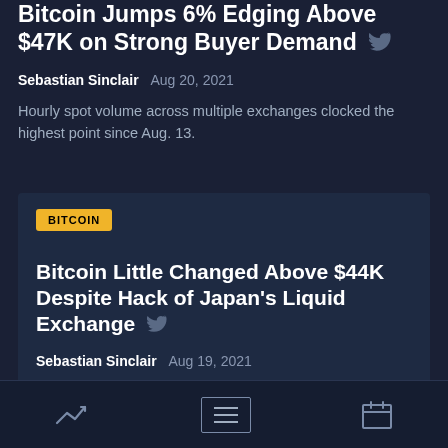Bitcoin Jumps 6% Edging Above $47K on Strong Buyer Demand
Sebastian Sinclair  Aug 20, 2021
Hourly spot volume across multiple exchanges clocked the highest point since Aug. 13.
BITCOIN
Bitcoin Little Changed Above $44K Despite Hack of Japan's Liquid Exchange
Sebastian Sinclair  Aug 19, 2021